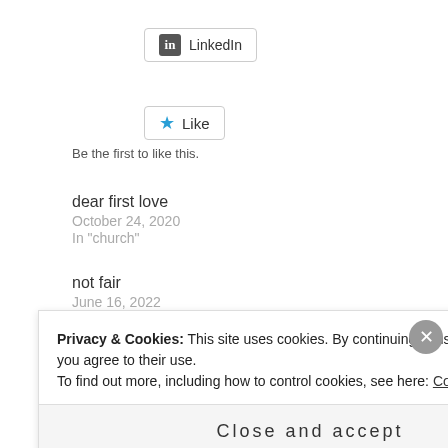[Figure (screenshot): LinkedIn share button with LinkedIn logo icon]
[Figure (screenshot): Like button with blue star icon]
Be the first to like this.
dear first love
October 24, 2020
In "church"
not fair
June 16, 2022
In "grace"
Privacy & Cookies: This site uses cookies. By continuing to use this website, you agree to their use.
To find out more, including how to control cookies, see here: Cookie Policy
Close and accept
[Figure (screenshot): Ad banner with text 'everything you need.']